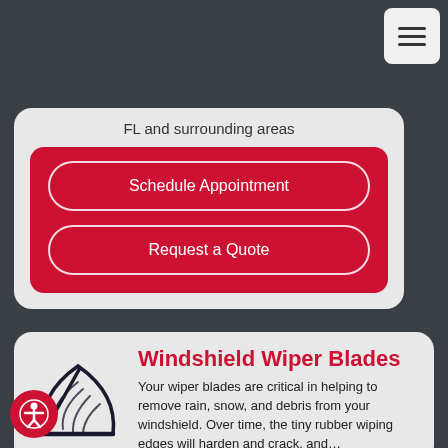Hamburger menu button (top right navigation)
FL and surrounding areas
Schedule Appointment
Request a Quote
Windshield Wiper Blades
Your wiper blades are critical in helping to remove rain, snow, and debris from your windshield. Over time, the tiny rubber wiping edges will harden and crack, and…